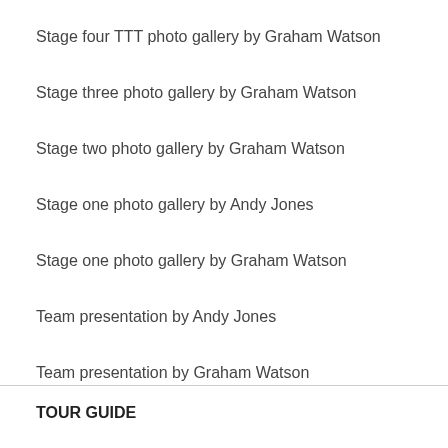Stage four TTT photo gallery by Graham Watson
Stage three photo gallery by Graham Watson
Stage two photo gallery by Graham Watson
Stage one photo gallery by Andy Jones
Stage one photo gallery by Graham Watson
Team presentation by Andy Jones
Team presentation by Graham Watson
TOUR GUIDE